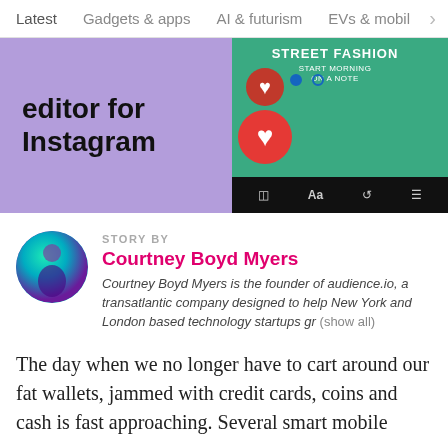Latest   Gadgets & apps   AI & futurism   EVs & mobil  >
[Figure (screenshot): Banner image showing 'editor for Instagram' text on purple background with a phone screen showing a 'Street Fashion' post editing UI with heart icons]
STORY BY
Courtney Boyd Myers
Courtney Boyd Myers is the founder of audience.io, a transatlantic company designed to help New York and London based technology startups gr (show all)
The day when we no longer have to cart around our fat wallets, jammed with credit cards, coins and cash is fast approaching. Several smart mobile